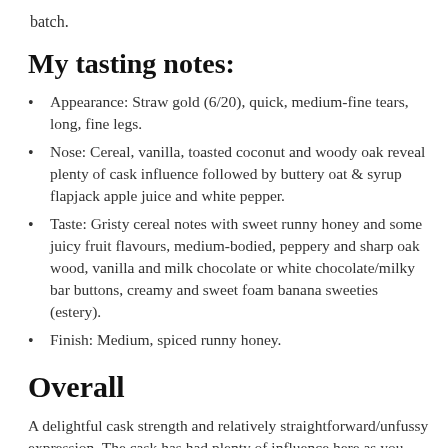batch.
My tasting notes:
Appearance: Straw gold (6/20), quick, medium-fine tears, long, fine legs.
Nose: Cereal, vanilla, toasted coconut and woody oak reveal plenty of cask influence followed by buttery oat & syrup flapjack apple juice and white pepper.
Taste: Gristy cereal notes with sweet runny honey and some juicy fruit flavours, medium-bodied, peppery and sharp oak wood, vanilla and milk chocolate or white chocolate/milky bar buttons, creamy and sweet foam banana sweeties (estery).
Finish: Medium, spiced runny honey.
Overall
A delightful cask strength and relatively straightforward/unfussy expression. The cask has had plenty of influence here as you would expect from 1st fill, making this very palateable. The balance is in favour of cask over